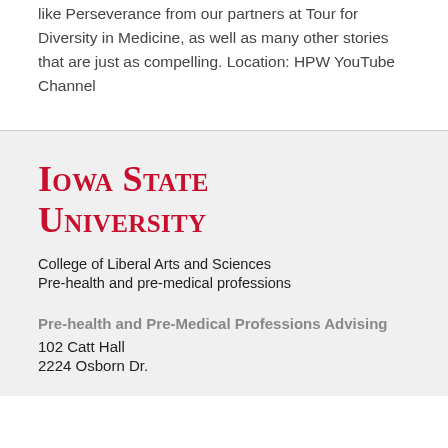like Perseverance from our partners at Tour for Diversity in Medicine, as well as many other stories that are just as compelling. Location: HPW YouTube Channel
[Figure (logo): Iowa State University wordmark logo in red with small-caps serif font]
College of Liberal Arts and Sciences
Pre-health and pre-medical professions
Pre-health and Pre-Medical Professions Advising
102 Catt Hall
2224 Osborn Dr.